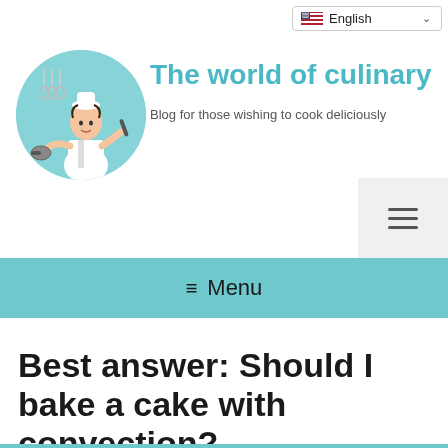[Figure (screenshot): Language selector dropdown showing English with US flag]
[Figure (logo): Circular logo with cartoon female chef in kitchen on teal background]
The world of culinary
Blog for those wishing to cook deliciously
[Figure (other): Hamburger menu icon (three horizontal lines)]
≡ Menu
Best answer: Should I bake a cake with convection?